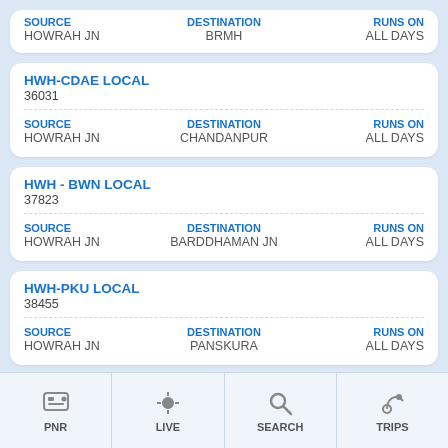SOURCE: HOWRAH JN | DESTINATION: BRMH | RUNS ON: ALL DAYS
HWH-CDAE LOCAL 36031
SOURCE: HOWRAH JN | DESTINATION: CHANDANPUR | RUNS ON: ALL DAYS
HWH - BWN LOCAL 37823
SOURCE: HOWRAH JN | DESTINATION: BARDDHAMAN JN | RUNS ON: ALL DAYS
HWH-PKU LOCAL 38455
SOURCE: HOWRAH JN | DESTINATION: PANSKURA | RUNS ON: ALL DAYS
PNR | LIVE | SEARCH | TRIPS